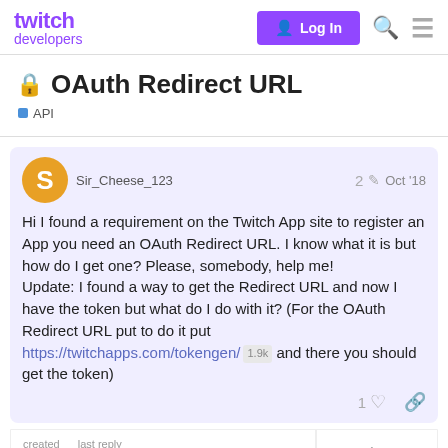twitch developers — Log In
🔒 OAuth Redirect URL
API
Sir_Cheese_123  2 ✏  Oct '18
Hi I found a requirement on the Twitch App site to register an App you need an OAuth Redirect URL. I know what it is but how do I get one? Please, somebody, help me!
Update: I found a way to get the Redirect URL and now I have the token but what do I do with it? (For the OAuth Redirect URL put to do it put https://twitchapps.com/tokengen/ 1.9k and there you should get the token)
1  created  last reply  9  1 / 10